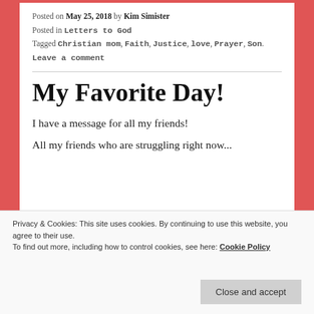Posted on May 25, 2018 by Kim Simister
Posted in Letters to God
Tagged Christian mom, Faith, Justice, love, Prayer, Son.
Leave a comment
My Favorite Day!
I have a message for all my friends!
All my friends who are struggling right now...
Privacy & Cookies: This site uses cookies. By continuing to use this website, you agree to their use.
To find out more, including how to control cookies, see here: Cookie Policy
Close and accept